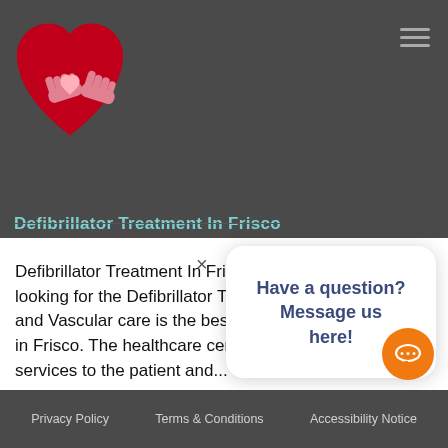[Figure (logo): Heart and Vascular care logo: two red hands cradling a red heart with a small heart symbol inside, on a dark gray background]
Defibrillator Treatment In Frisco
Defibrillator Treatment In Frisco – Are you one who is looking for the Defibrillator Treatment in Frisco? Heart and Vascular care is the best Defibrillator Management in Frisco. The healthcare center provides the best services to the patient and...
Have a question? Message us here!
Privacy Policy   Terms & Conditions   Accessibility Notice